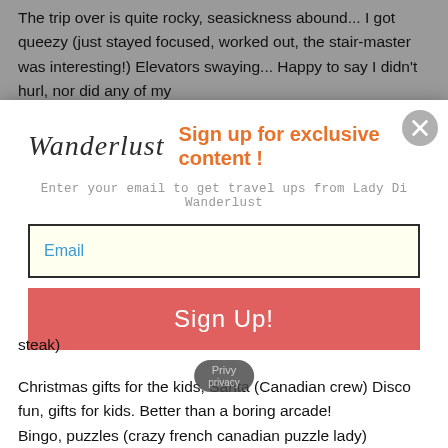The trip over is quite rocky, seasickness abound... I got queezy (just stayed focused, worked out, the stair-master was interesting!) Elevators swaying... Happy to say I didn't hurl, nor did any of my
[Figure (screenshot): Wanderlust email signup modal popup with brand logo, orange headline 'Sign up for exclusive content!', subtext, email input field, and red Sign Up button with close X button]
steak)
Christmas gifts for the kids, Santa (Canadian crew) Disco fun, gifts for kids. Better than a boring arcade! Bingo, puzzles (crazy french canadian puzzle lady)